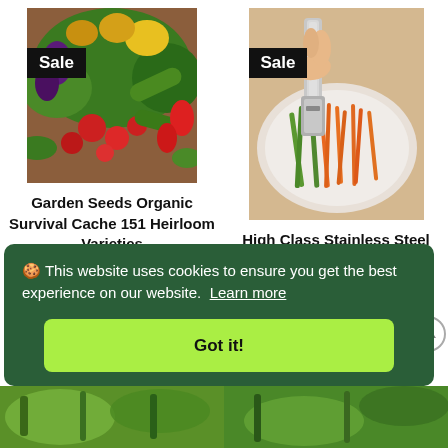[Figure (photo): Photo of assorted garden vegetables including tomatoes, eggplants, cucumbers, peppers, and squash piled together with a 'Sale' badge]
[Figure (photo): Photo of hands using a stainless steel julienne peeler on vegetables (carrots and zucchini) with a 'Sale' badge]
Garden Seeds Organic Survival Cache 151 Heirloom Varieties
High Class Stainless Steel Julienne Multifunction
$219.99 USD
$350.00 USD
🍪 This website uses cookies to ensure you get the best experience on our website.  Learn more
Got it!